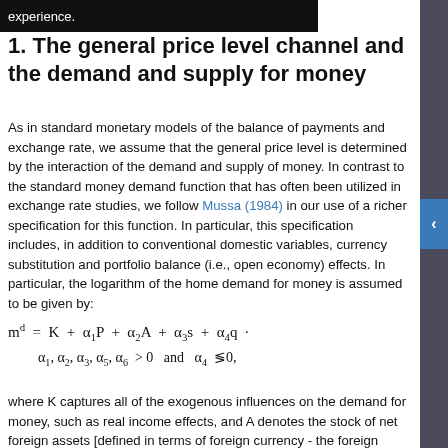experience.
1. The general price level channel and the demand and supply for money
As in standard monetary models of the balance of payments and exchange rate, we assume that the general price level is determined by the interaction of the demand and supply of money. In contrast to the standard money demand function that has often been utilized in exchange rate studies, we follow Mussa (1984) in our use of a richer specification for this function. In particular, this specification includes, in addition to conventional domestic variables, currency substitution and portfolio balance (i.e., open economy) effects. In particular, the logarithm of the home demand for money is assumed to be given by:
where K captures all of the exogenous influences on the demand for money, such as real income effects, and A denotes the stock of net foreign assets [defined in terms of foreign currency - the foreign good] which